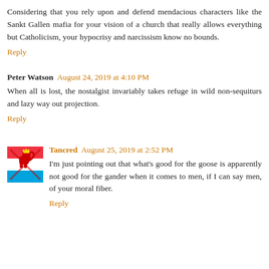Considering that you rely upon and defend mendacious characters like the Sankt Gallen mafia for your vision of a church that really allows everything but Catholicism, your hypocrisy and narcissism know no bounds.
Reply
Peter Watson  August 24, 2019 at 4:10 PM
When all is lost, the nostalgist invariably takes refuge in wild non-sequiturs and lazy way out projection.
Reply
Tancred  August 25, 2019 at 2:52 PM
I'm just pointing out that what's good for the goose is apparently not good for the gander when it comes to men, if I can say men, of your moral fiber.
Reply